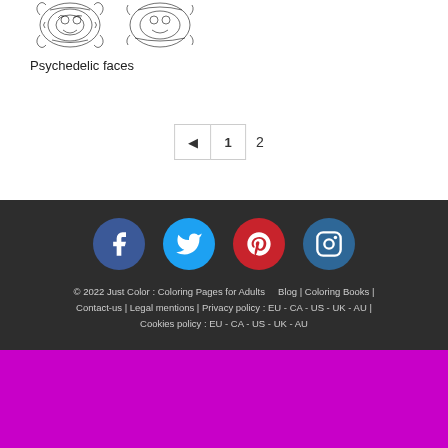[Figure (illustration): Psychedelic faces coloring page thumbnail - detailed black and white illustration]
Psychedelic faces
◄  1  2
[Figure (infographic): Social media icons: Facebook (blue circle), Twitter (light blue circle), Pinterest (red circle), Instagram (dark blue circle)]
© 2022 Just Color : Coloring Pages for Adults   Blog | Coloring Books | Contact-us | Legal mentions | Privacy policy : EU - CA - US - UK - AU | Cookies policy : EU - CA - US - UK - AU